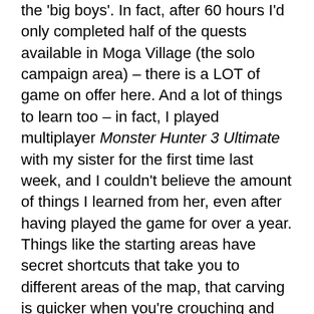the 'big boys'. In fact, after 60 hours I'd only completed half of the quests available in Moga Village (the solo campaign area) – there is a LOT of game on offer here. And a lot of things to learn too – in fact, I played multiplayer Monster Hunter 3 Ultimate with my sister for the first time last week, and I couldn't believe the amount of things I learned from her, even after having played the game for over a year. Things like the starting areas have secret shortcuts that take you to different areas of the map, that carving is quicker when you're crouching and that throwing sonic bombs can cause some monsters like Diablos to pop out of the ground – things that I would never have found out by playing on my own.
And that's one of the game's central appeals – the community is extremely helpful, and playing in a group adds another dimension to the gameplay. Plus, because the game is so obtuse about how it works, there's a real sense of achievement when you learn its